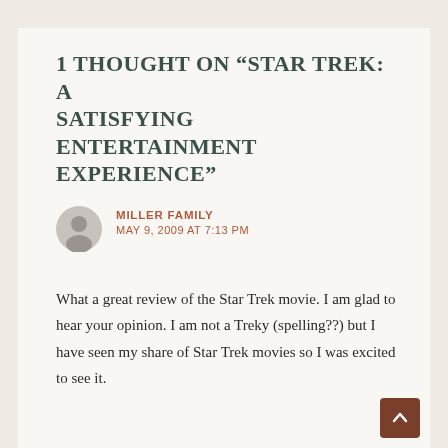1 THOUGHT ON “STAR TREK: A SATISFYING ENTERTAINMENT EXPERIENCE”
MILLER FAMILY
MAY 9, 2009 AT 7:13 PM
What a great review of the Star Trek movie. I am glad to hear your opinion. I am not a Treky (spelling??) but I have seen my share of Star Trek movies so I was excited to see it.